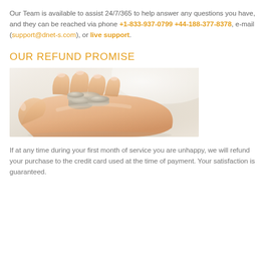Our Team is available to assist 24/7/365 to help answer any questions you have, and they can be reached via phone +1-833-937-0799 +44-188-377-8378, e-mail (support@dnet-s.com), or live support.
OUR REFUND PROMISE
[Figure (photo): A hand holding coins, illustrating a refund or money-back guarantee.]
If at any time during your first month of service you are unhappy, we will refund your purchase to the credit card used at the time of payment. Your satisfaction is guaranteed.